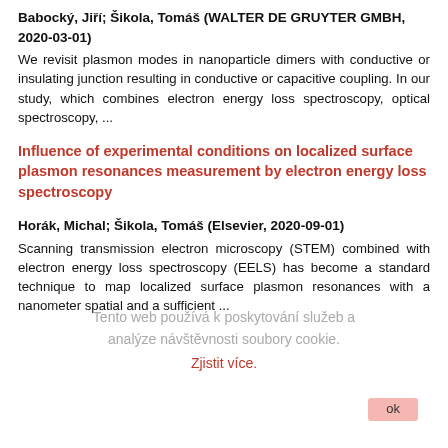Babocký, Jiří; Šikola, Tomáš (WALTER DE GRUYTER GMBH, 2020-03-01)
We revisit plasmon modes in nanoparticle dimers with conductive or insulating junction resulting in conductive or capacitive coupling. In our study, which combines electron energy loss spectroscopy, optical spectroscopy, ...
Influence of experimental conditions on localized surface plasmon resonances measurement by electron energy loss spectroscopy
Horák, Michal; Šikola, Tomáš (Elsevier, 2020-09-01)
Scanning transmission electron microscopy (STEM) combined with electron energy loss spectroscopy (EELS) has become a standard technique to map localized surface plasmon resonances with a nanometer spatial and a sufficient ...
Influence of primary beam energy on localized surface plasmon resonances mapping by STEM-EELS
Horák, Michal; Šikola, Tomáš (Cambridge University Press, 2021-07-30)
We have discussed the impact on experimental characteristics